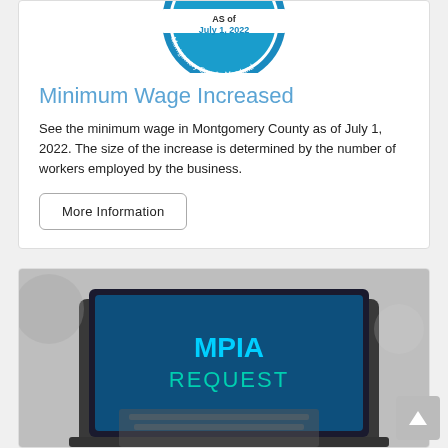[Figure (logo): Montgomery County Maryland seal/badge with text 'AS of July 1, 2022' and 'Montgomery County, Maryland' in blue circular design]
Minimum Wage Increased
See the minimum wage in Montgomery County as of July 1, 2022. The size of the increase is determined by the number of workers employed by the business.
More Information
[Figure (photo): Black and white photo of person typing on a laptop whose screen displays 'MPIA REQUEST' in cyan/teal text on a blue background]